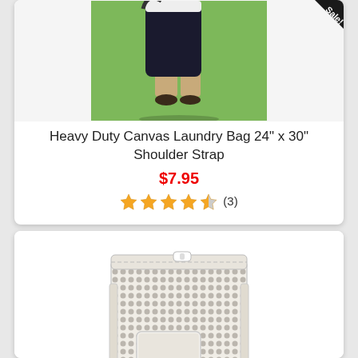[Figure (photo): Person carrying a large black canvas laundry bag over the shoulder, standing on green grass, with a 'Sale!' banner in the top-right corner of the product card.]
Heavy Duty Canvas Laundry Bag 24" x 30" Shoulder Strap
$7.95
★★★★½ (3)
[Figure (photo): White mesh laundry bag with zipper closure and a velcro label patch, photographed against a white background.]